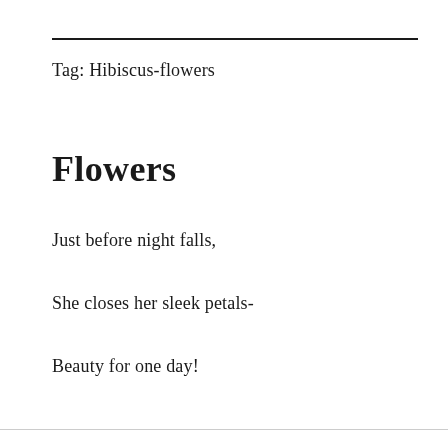Tag: Hibiscus-flowers
Flowers
Just before night falls,
She closes her sleek petals-
Beauty for one day!